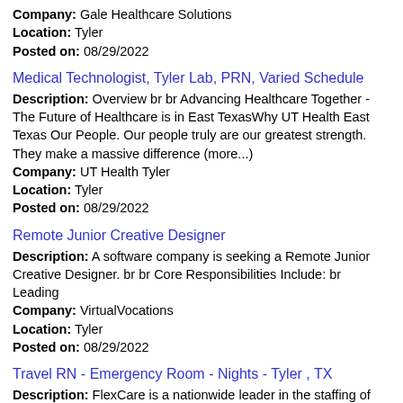Company: Gale Healthcare Solutions
Location: Tyler
Posted on: 08/29/2022
Medical Technologist, Tyler Lab, PRN, Varied Schedule
Description: Overview br br Advancing Healthcare Together - The Future of Healthcare is in East TexasWhy UT Health East Texas Our People. Our people truly are our greatest strength. They make a massive difference (more...)
Company: UT Health Tyler
Location: Tyler
Posted on: 08/29/2022
Remote Junior Creative Designer
Description: A software company is seeking a Remote Junior Creative Designer. br br Core Responsibilities Include: br Leading
Company: VirtualVocations
Location: Tyler
Posted on: 08/29/2022
Travel RN - Emergency Room - Nights - Tyler , TX
Description: FlexCare is a nationwide leader in the staffing of travel nurses and clinicians. With access to thousands of facilities around the country, our mission is to deliver premier travel staffing solutions